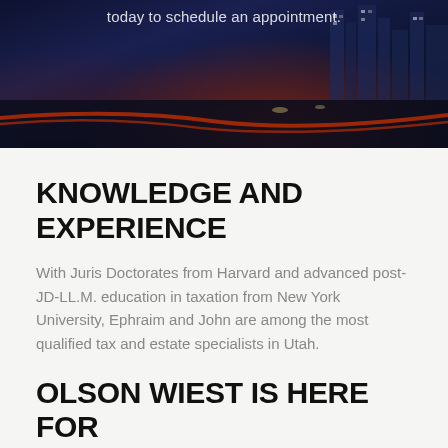[Figure (photo): Nighttime city street scene with light trails and dark blue tones, with text overlay reading 'today to schedule an appointment.']
KNOWLEDGE AND EXPERIENCE
With Juris Doctorates from Harvard and advanced post-JD-LL.M. education in taxation from New York University, Ephraim and John are among the most qualified tax and estate specialists in Utah.
OLSON WIEST IS HERE FOR YOU